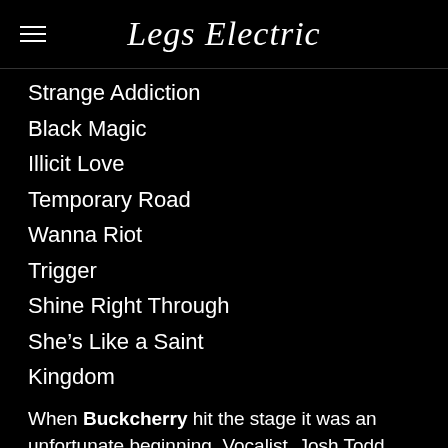Legs Electric
Strange Addiction
Black Magic
Illicit Love
Temporary Road
Wanna Riot
Trigger
Shine Right Through
She’s Like a Saint
Kingdom
When Buckcherry hit the stage it was an unfortunate beginning. Vocalist, Josh Todd had immediate issue with his microphone volume and the loss of vocal for about 2/3’s of their most treasured track, ‘Lit Up’, a huge disappointment for fans. Fortunately, the technical hitch